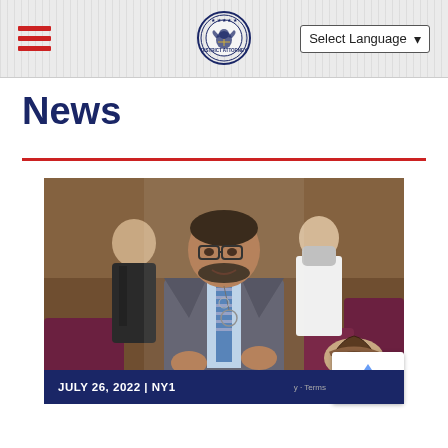Navigation header with hamburger menu, government seal, and Select Language dropdown
News
[Figure (photo): A man in a grey suit with a blue striped tie speaking in what appears to be a courtroom. A security officer in white uniform wearing a mask stands in the background, and another person in a black suit is visible on the left. A woman with braided hair is seated in the foreground-right.]
JULY 26, 2022 | NY1